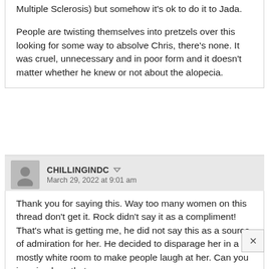Multiple Sclerosis) but somehow it's ok to do it to Jada.

People are twisting themselves into pretzels over this looking for some way to absolve Chris, there's none. It was cruel, unnecessary and in poor form and it doesn't matter whether he knew or not about the alopecia.
CHILLINGINDC  March 29, 2022 at 9:01 am
Thank you for saying this. Way too many women on this thread don't get it. Rock didn't say it as a compliment! That's what is getting me, he did not say this as a source of admiration for her. He decided to disparage her in a mostly white room to make people laugh at her. Can you imagine how that felt to her in that moment? This is after she did countless interviews talking